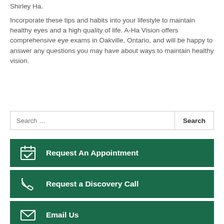Shirley Ha.
Incorporate these tips and habits into your lifestyle to maintain healthy eyes and a high quality of life. A-Ha Vision offers comprehensive eye exams in Oakville, Ontario, and will be happy to answer any questions you may have about ways to maintain healthy vision.
Search …
Request An Appointment
Request a Discovery Call
Email Us